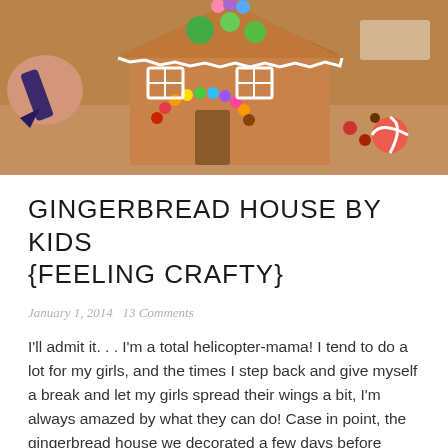[Figure (photo): Photo of a gingerbread house being decorated with colorful candies. A hand holds a piping bag on the left side. The gingerbread house is decorated with M&Ms in various colors arranged in an arch over the door, green candy decorations on the roof, white icing windows, and various other candies. Background shows a warm-toned surface.]
GINGERBREAD HOUSE BY KIDS {FEELING CRAFTY}
January 1, 2014   13 Comments
I'll admit it. . . I'm a total helicopter-mama! I tend to do a lot for my girls, and the times I step back and give myself a break and let my girls spread their wings a bit, I'm always amazed by what they can do! Case in point, the gingerbread house we decorated a few days before Christmas. . .